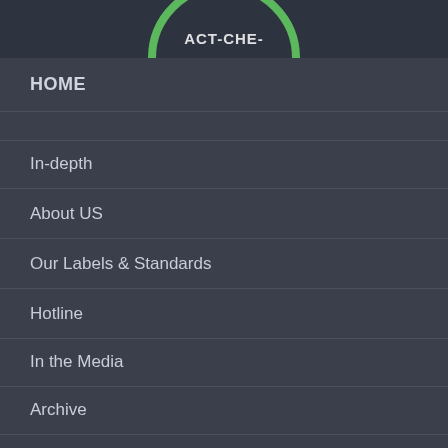[Figure (logo): Partial logo showing 'ACT-CHE-' text in white on dark background with green circular border at top of page]
HOME
In-depth
About US
Our Labels & Standards
Hotline
In the Media
Archive
About us
Annie Lab newsroom is a fact-checking project at HKU